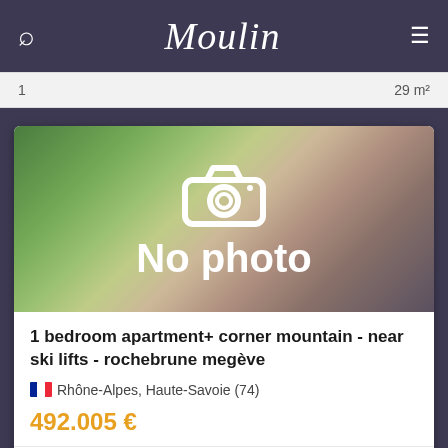Moulin
1    29 m²
[Figure (photo): No photo placeholder with camera icon and blurred background]
1 bedroom apartment+ corner mountain - near ski lifts - rochebrune megève
Rhône-Alpes, Haute-Savoie (74)
492.005 €
Schlafzimmern    Gelände    Wohnfläche